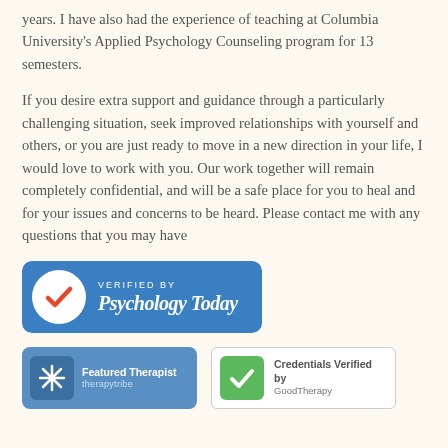years. I have also had the experience of teaching at Columbia University's Applied Psychology Counseling program for 13 semesters.
If you desire extra support and guidance through a particularly challenging situation, seek improved relationships with yourself and others, or you are just ready to move in a new direction in your life, I would love to work with you. Our work together will remain completely confidential, and will be a safe place for you to heal and for your issues and concerns to be heard. Please contact me with any questions that you may have
[Figure (logo): Verified by Psychology Today badge — blue rounded rectangle with white checkmark circle (red checkmark) and white text 'VERIFIED BY Psychology Today']
[Figure (logo): Featured Therapist on TherapyTribe badge — blue rectangle with snowflake icon and white text 'Featured Therapist therapytribe']
[Figure (logo): Credentials Verified by GoodTherapy badge — white rectangle with green checkbox and text 'Credentials Verified by GoodTherapy']